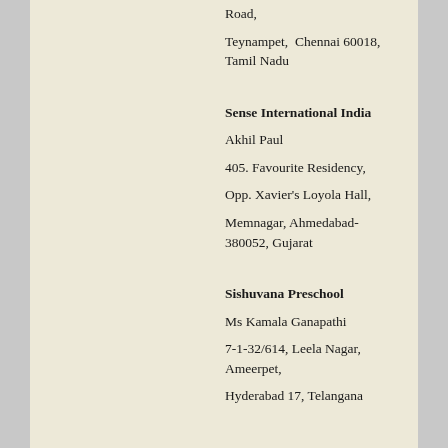Road,
Teynampet,  Chennai 60018, Tamil Nadu
Sense International India
Akhil Paul
405. Favourite Residency,
Opp. Xavier's Loyola Hall,
Memnagar, Ahmedabad-380052, Gujarat
Sishuvana Preschool
Ms Kamala Ganapathi
7-1-32/614, Leela Nagar, Ameerpet,
Hyderabad 17, Telangana